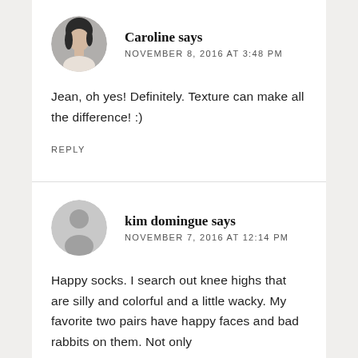Caroline says
NOVEMBER 8, 2016 AT 3:48 PM
Jean, oh yes! Definitely. Texture can make all the difference! :)
REPLY
kim domingue says
NOVEMBER 7, 2016 AT 12:14 PM
Happy socks. I search out knee highs that are silly and colorful and a little wacky. My favorite two pairs have happy faces and bad rabbits on them. Not only